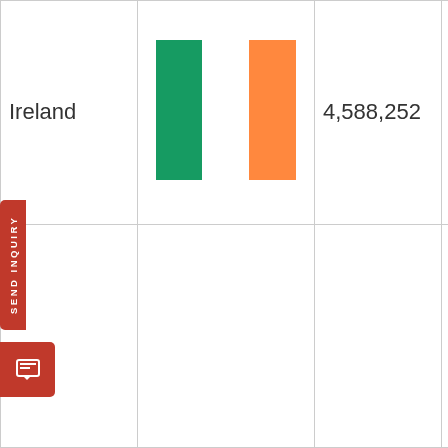| Country | Flag | Population | Capital |
| --- | --- | --- | --- |
| Ireland | [Irish flag] | 4,588,252 | Dubli... |
|  |  |  |  |
|  |  |  |  |
[Figure (illustration): SEND INQUIRY vertical button tab on the left side, red background with white text, and a chat icon button below it]